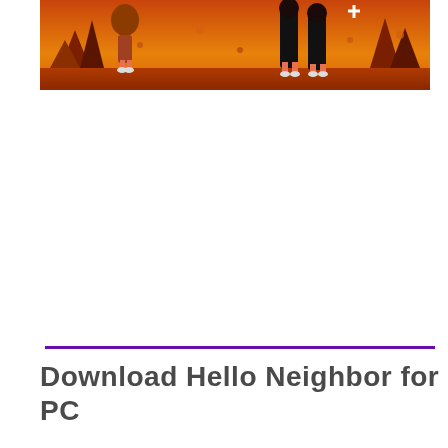[Figure (illustration): Partial game artwork showing characters standing in an orange/red autumn scene with trees in background. One character in red/brown on left, two characters in black on right, against a warm sunset background.]
Download Hello Neighbor for PC